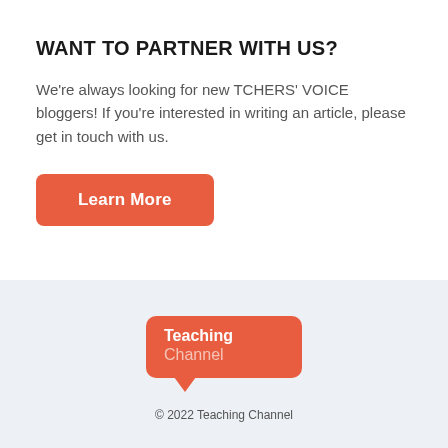WANT TO PARTNER WITH US?
We're always looking for new TCHERS' VOICE bloggers! If you're interested in writing an article, please get in touch with us.
[Figure (other): Orange rounded-rectangle button labeled 'Learn More']
[Figure (logo): Teaching Channel logo: red rounded rectangle with speech bubble tail, text 'Teaching Channel']
© 2022 Teaching Channel